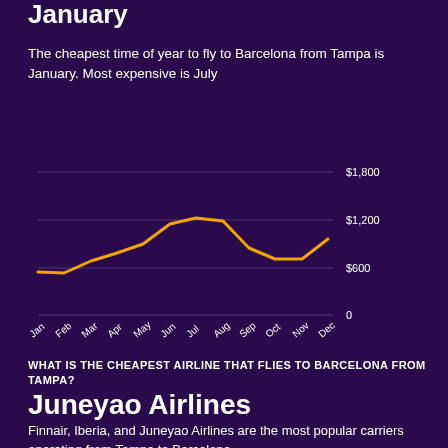January
The cheapest time of year to fly to Barcelona from Tampa is January. Most expensive is July
[Figure (line-chart): Flight price by month, Tampa to Barcelona]
WHAT IS THE CHEAPEST AIRLINE THAT FLIES TO BARCELONA FROM TAMPA?
Juneyao Airlines
Finnair, Iberia, and Juneyao Airlines are the most popular carriers operating from Tampa to Barcelona